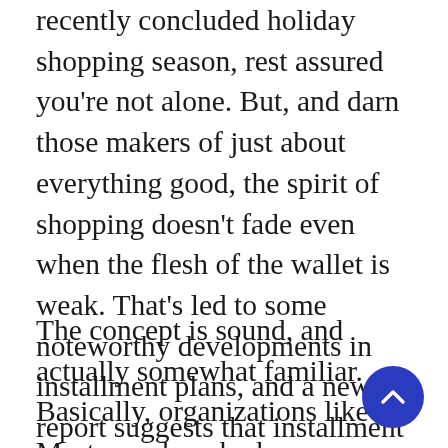recently concluded holiday shopping season, rest assured you're not alone. But, and darn those makers of just about everything good, the spirit of shopping doesn't fade even when the flesh of the wallet is weak. That's led to some noteworthy developments in installment plans, and a new report suggests that installment plans at the point of sale (POS) could be a major new development for mobile payments in 2020.
The concept is sound, and actually somewhat familiar. Basically, organizations like Mastercard—who have themselves long been the bastion of pay-it-later shopping—have caught on to the notion that when people start thinking, they start second-guessing. When they start second-guessing, carts get abandoned and sales are lost.